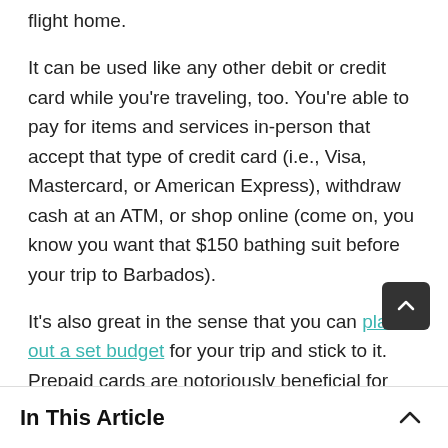flight home.
It can be used like any other debit or credit card while you're traveling, too. You're able to pay for items and services in-person that accept that type of credit card (i.e., Visa, Mastercard, or American Express), withdraw cash at an ATM, or shop online (come on, you know you want that $150 bathing suit before your trip to Barbados).
It's also great in the sense that you can plan out a set budget for your trip and stick to it. Prepaid cards are notoriously beneficial for budgeting since you literally
In This Article